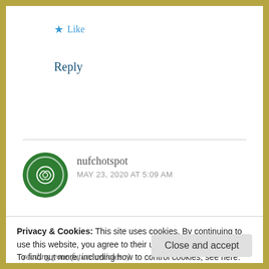★ Like
Reply
nufchotspot
MAY 23, 2020 AT 5:09 AM
Privacy & Cookies: This site uses cookies. By continuing to use this website, you agree to their use.
To find out more, including how to control cookies, see here:
Cookie Policy
Close and accept
reading your future articles :)